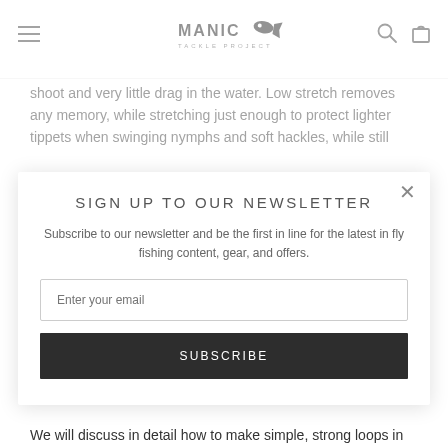[Figure (logo): Manic Tackle Project logo — stylized fish with text MANIC TACKLE PROJECT]
shoot and very little drag in the water. Low stretch removes any memory, while stretching just enough to protect lighter tippets when swinging nymphs and soft hackles, while still
SIGN UP TO OUR NEWSLETTER
Subscribe to our newsletter and be the first in line for the latest in fly fishing content, gear, and offers.
We will discuss in detail how to make simple, strong loops in